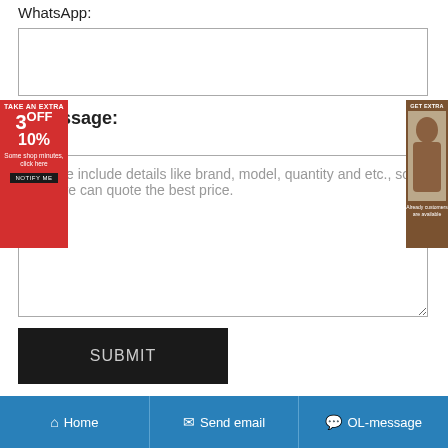WhatsApp:
[Figure (screenshot): WhatsApp text input field (empty)]
Message:
Please include details like brand, model, quantity and etc., so that we can quote the best price.
SUBMIT
| Brand | Model | Price |
| --- | --- | --- |
| NACHI | 30322D | Email To Buy |
Home   Send email   OL-message